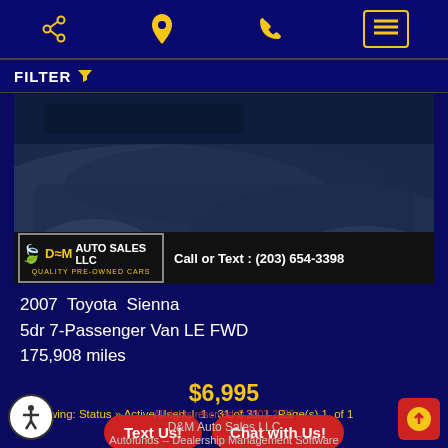Navigation bar with share, location, phone, and menu icons
FILTER
[Figure (photo): D&M Auto Sales LLC car dealership photo with dark blue/grey vehicle image and dealership banner showing logo and phone number Call or Text : (203) 654-3398]
2007 Toyota Sienna
5dr 7-Passenger Van LE FWD
175,908 miles
$6,995
Now viewing: Status » Active Used | 1 - 31 of 31 | Page(s) 1 of 1
Text Us!
Chat with Us!
All rights reserved © 2003-2022
D&M Auto Sales LLC
Autofunds -- Dealership Management Software